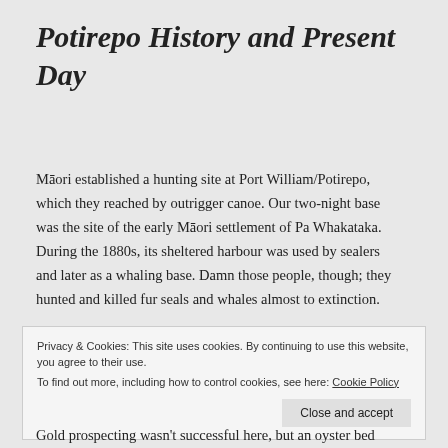Potirepo History and Present Day
Māori established a hunting site at Port William/Potirepo, which they reached by outrigger canoe. Our two-night base was the site of the early Māori settlement of Pa Whakataka. During the 1880s, its sheltered harbour was used by sealers and later as a whaling base. Damn those people, though; they hunted and killed fur seals and whales almost to extinction.
Privacy & Cookies: This site uses cookies. By continuing to use this website, you agree to their use.
To find out more, including how to control cookies, see here: Cookie Policy
Gold prospecting wasn't successful here, but an oyster bed was